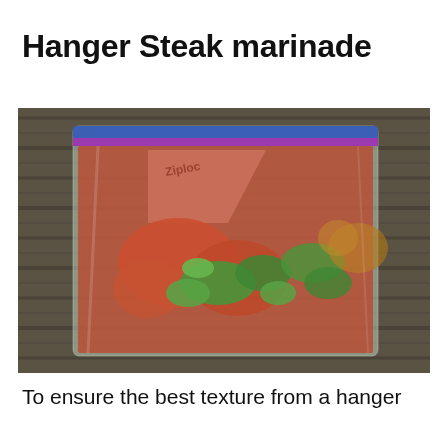Hanger Steak marinade
[Figure (photo): A Ziploc plastic bag containing hanger steak in a red marinade with green herbs, placed on a dark wooden surface.]
To ensure the best texture from a hanger